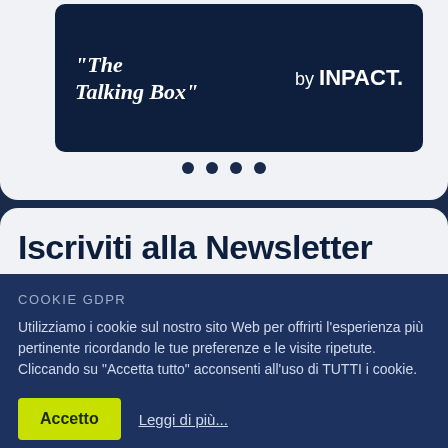[Figure (screenshot): Dark navy banner with italic serif text 'The Talking Box' on left and 'by INPACT.' branding on right, with navigation dots below]
Iscriviti alla Newsletter
COOKIE GDPR
Utilizziamo i cookie sul nostro sito Web per offrirti l'esperienza più pertinente ricordando le tue preferenze e le visite ripetute. Cliccando su "Accetta tutto" acconsenti all'uso di TUTTI i cookie.
Accetto
Leggi di più...